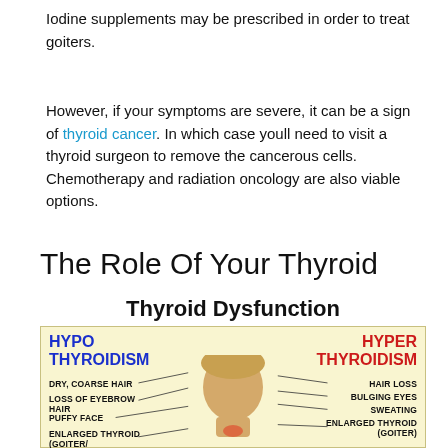Iodine supplements may be prescribed in order to treat goiters.
However, if your symptoms are severe, it can be a sign of thyroid cancer. In which case youll need to visit a thyroid surgeon to remove the cancerous cells. Chemotherapy and radiation oncology are also viable options.
The Role Of Your Thyroid
[Figure (infographic): Thyroid Dysfunction infographic showing HYPO THYROIDISM on the left and HYPER THYROIDISM on the right, with a central image of a woman and lines pointing to symptoms on each side. Left symptoms: DRY, COARSE HAIR; LOSS OF EYEBROW HAIR; PUFFY FACE; ENLARGED THYROID (GOITER). Right symptoms: HAIR LOSS; BULGING EYES; SWEATING; ENLARGED THYROID (GOITER).]
Thyroid Dysfunction